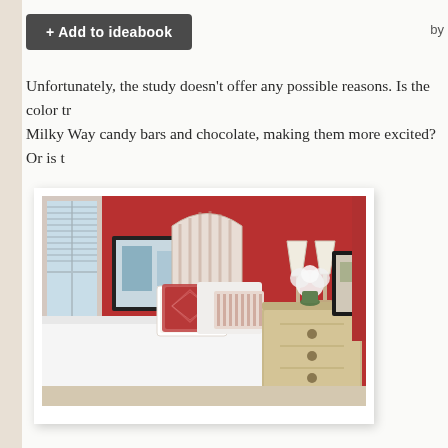+ Add to ideabook   by
Unfortunately, the study doesn't offer any possible reasons. Is the color tr Milky Way candy bars and chocolate, making them more excited? Or is t
[Figure (photo): A bedroom with a red accent wall featuring a striped headboard, white bedding with decorative pillows, two table lamps, a framed artwork on the left wall, and a distressed wood nightstand with white flowers and a framed picture on the right.]